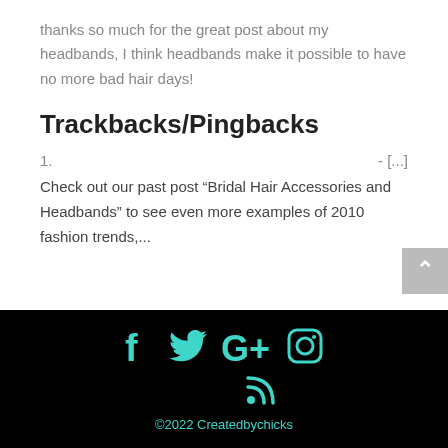thanks so much for the great post about my headbands, I think headbands make it possible to have no more bad hair days!
Trackbacks/Pingbacks
1.   - [...]
Check out our past post “Bridal Hair Accessories and Headbands” to see even more examples of 2010 fashion trends,...
©2022 Createdbychicks